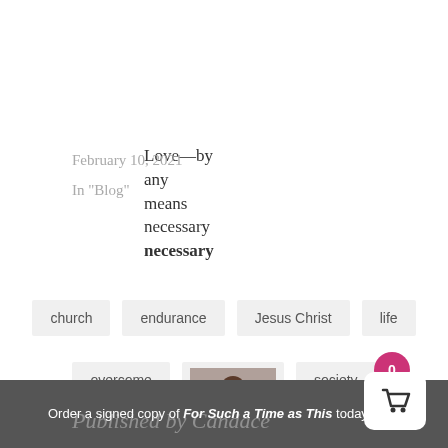Love—by any means necessary
February 10, 2021
In "Blog"
church
endurance
Jesus Christ
life
overcome
Revelation
society
[Figure (photo): Profile photo of a woman]
Order a signed copy of For Such a Time as This today!